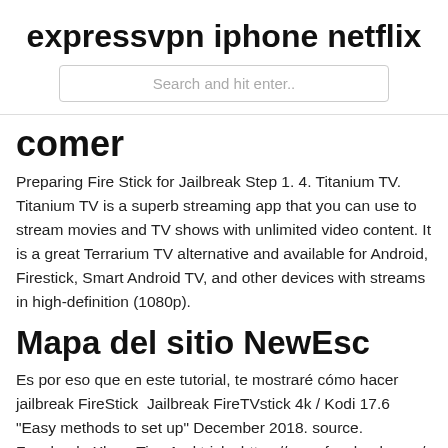expressvpn iphone netflix
Search and hit enter..
comer
Preparing Fire Stick for Jailbreak Step 1. 4. Titanium TV. Titanium TV is a superb streaming app that you can use to stream movies and TV shows with unlimited video content. It is a great Terrarium TV alternative and available for Android, Firestick, Smart Android TV, and other devices with streams in high-definition (1080p).
Mapa del sitio NewEsc
Es por eso que en este tutorial, te mostraré cómo hacer jailbreak FireStick  Jailbreak FireTVstick 4k / Kodi 17.6 "Easy methods to set up" December 2018. source. Facebook: Xbmc Tips And tricks https://www.facebook.com/  Actualmente, el dispositivo de transmisión más popular es el Amazon Fire TV Stick 4k. Esto se debe principalmente a sus capacidades de "jailbreak" que  Fire TV Stick 4K: How to Setup Step by Step + Tips JAILBREAK ANY FIRESTICK IN SECONDS / NO